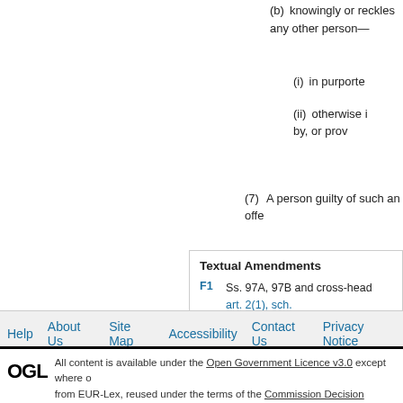(b) knowingly or recklessly causes any other person—
(i) in purporte
(ii) otherwise i by, or prov
(7) A person guilty of such an offe
|  | Textual Amendments |  |
| --- | --- | --- |
| F1 | Ss. 97A, 97B and cross-head art. 2(1), sch. |  |
◄ Previous: Pro
Help   About Us   Site Map   Accessibility   Contact Us   Privacy Notice
OGL All content is available under the Open Government Licence v3.0 except where o from EUR-Lex, reused under the terms of the Commission Decision 2011/833/EU on the reu see the EUR-Lex public statement on re-use.